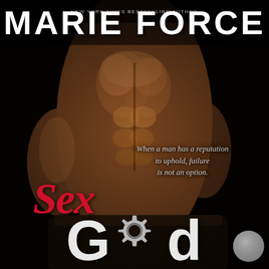[Figure (illustration): Book cover for 'Sex God' by Marie Force. Features a muscular male torso against a black background. Red cursive 'Sex' and white bold 'God' with a gear replacing the 'o'. Tagline: 'When a man has a reputation to uphold, failure is not an option.' Author name 'MARIE FORCE' in large white bold text at top. Small text at top reads 'New York Times Bestselling Author'. Gray disc in bottom right corner.]
MARIE FORCE
NEW YORK TIMES BESTSELLING AUTHOR
When a man has a reputation to uphold, failure is not an option.
Sex God